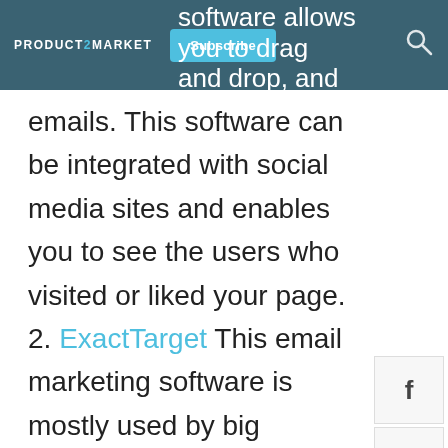PRODUCT2MARKET | Subscribe | software allows you to drag and drop, and also edit
emails. This software can be integrated with social media sites and enables you to see the users who visited or liked your page. 2. ExactTarget This email marketing software is mostly used by big companies who send out email messages in bulk. The software, just like many email
[Figure (infographic): Social media share buttons: Facebook (f), LinkedIn (in), Twitter (bird icon)]